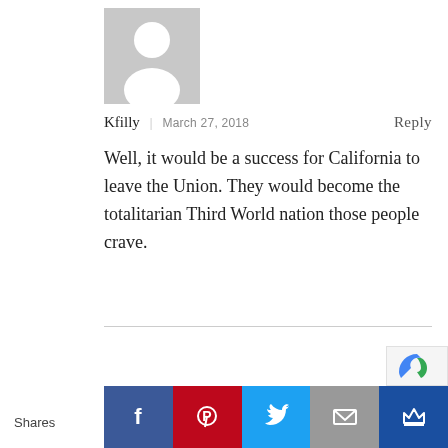[Figure (illustration): Default user avatar placeholder — grey square with white person silhouette icon]
Kfilly | March 27, 2018   Reply
Well, it would be a success for California to leave the Union. They would become the totalitarian Third World nation those people crave.
[Figure (infographic): Social share bar with Facebook, Pinterest, Twitter, Email, and Crown icons. 'Shares' label on the left.]